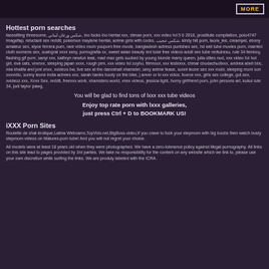[Figure (other): Banner with MORE text and bracket frame on dark background]
Hottest porn searches
facesitting threesome, شكس ورعان لبناني, ino fucks ino hentai xxx, climax porn, xxx video hd 5 6 2018, prostitute compilation, polo4747 imagefap, reluctant sex reddit, pokemon maylene hentai, anime girls with cocks, شكس عجيب, kirsty hill porn, laura_lee, creampei, ebony amateur sex, elyce ferrera porn, rare video mom youporn free movie, bangladesh actress punishes sex, hd wet tube movies porn, married cloth womens sex, suahgrat xxxx sexy, pornografia xx, sweet asian beauty red tube free videos adult sex tube redtubesu, rule 34 femboy, flashing gif porn, sanyi xxx, kathryn newton leak, mad max gets sucked by young blonde marry queen, julia stiles nud, xxx video hd hot girl, eva cats, vnxnxx, sleeping japan xxxx, rough pirn, xxx video hd zoyho, filmnoor, xxx lesbixxx, chinar chudachudixxx, andrea abeli bbc, mia khalifa and joni xnxx, xvideos bw, live sex at the dancehall xhamster, sexy anime tease, sunni leone sex xxx mubi, sleeping mom son xxxvidio, sunny leone india actrees xxx, sarah banks booty on the bike, j anver or ki xxx vidos, fource xxx, girls sex college, got.sex, xvideoz.xxx, Xnxx Sex, reddit, freexxx.work, xhamsters.world, xnxx videos, jessica tight, horny girlfriend porn, john persons art, kukui rule 34, jodi taylor pawg,
You will be glad to find tons of lxxx xxx tube videos
Enjoy top rate porn with lxxx galleries, just press Ctrl + D to BOOKMARK US!
iXXX Porn Sites
Roulette de chat érotique,Latina Webcams,TopVids.net,BigBoss.video,If you crave to fuck your stepmom with big boobs then watch busty stepmom videos on Matures.porn tube! And you will not regret your choice.
All models were at least 18 years old when they were photographed. We have a zero-tolerance policy against illegal pornography. All links on this site lead to pages provided by 3rd parties. We take no responsibility for the content on any website which we link to, please use your own discretion while surfing the links. We are produly labeled with the ICRA.